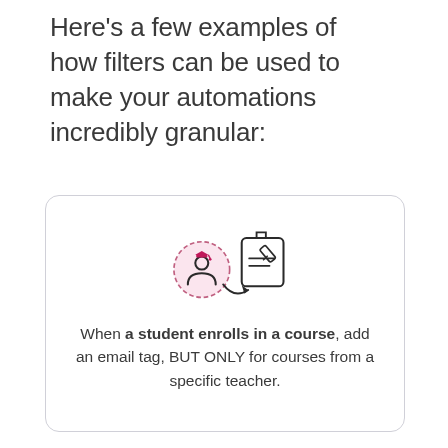Here's a few examples of how filters can be used to make your automations incredibly granular:
[Figure (illustration): Icon of a student (person with graduation cap inside a dashed circle with a pink background) connected by an arrow to a document/form icon (clipboard with lines and a pencil), representing enrollment triggering a course action.]
When a student enrolls in a course, add an email tag, BUT ONLY for courses from a specific teacher.